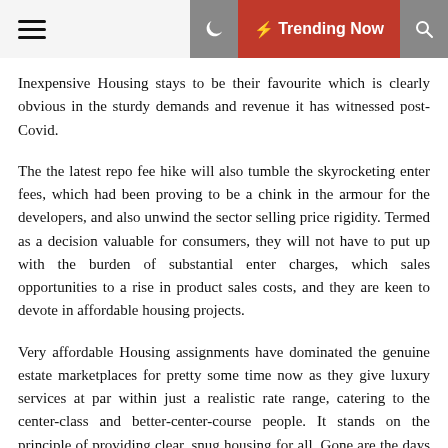☰ 🌙 ⚡ Trending Now 🔍
Inexpensive Housing stays to be their favourite which is clearly obvious in the sturdy demands and revenue it has witnessed post-Covid.
The the latest repo fee hike will also tumble the skyrocketing enter fees, which had been proving to be a chink in the armour for the developers, and also unwind the sector selling price rigidity. Termed as a decision valuable for consumers, they will not have to put up with the burden of substantial enter charges, which sales opportunities to a rise in product sales costs, and they are keen to devote in affordable housing projects.
Very affordable Housing assignments have dominated the genuine estate marketplaces for pretty some time now as they give luxury services at par within just a realistic rate range, catering to the center-class and better-center-course people. It stands on the principle of providing clear, snug housing for all. Gone are the days when the massive metropolitan areas had been the